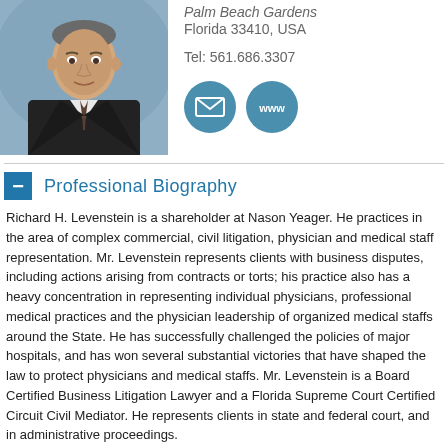[Figure (photo): Professional headshot of Richard H. Levenstein, a man in a dark suit and tie against a muted blue background]
Palm Beach Gardens
Florida 33410, USA

Tel: 561.686.3307
[Figure (infographic): Two teal circular icon buttons: email envelope icon and www website icon]
Professional Biography
Richard H. Levenstein is a shareholder at Nason Yeager. He practices in the area of complex commercial, civil litigation, physician and medical staff representation. Mr. Levenstein represents clients with business disputes, including actions arising from contracts or torts; his practice also has a heavy concentration in representing individual physicians, professional medical practices and the physician leadership of organized medical staffs around the State. He has successfully challenged the policies of major hospitals, and has won several substantial victories that have shaped the law to protect physicians and medical staffs. Mr. Levenstein is a Board Certified Business Litigation Lawyer and a Florida Supreme Court Certified Circuit Civil Mediator. He represents clients in state and federal court, and in administrative proceedings.